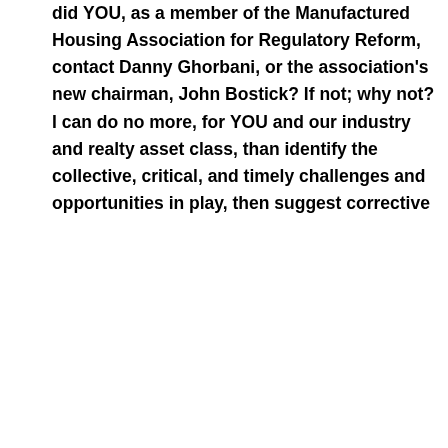did YOU, as a member of the Manufactured Housing Association for Regulatory Reform, contact Danny Ghorbani, or the association's new chairman, John Bostick? If not; why not? I can do no more, for YOU and our industry and realty asset class, than identify the collective, critical, and timely challenges and opportunities in play, then suggest corrective